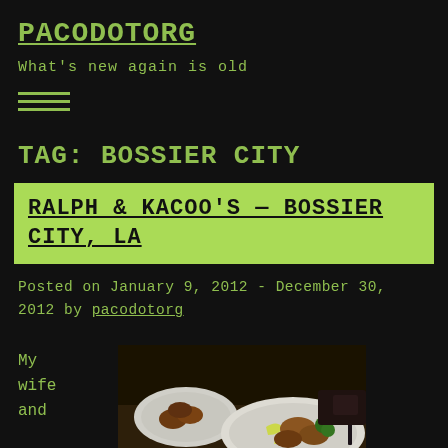PACODOTORG
What's new again is old
TAG: BOSSIER CITY
RALPH & KACOO'S — BOSSIER CITY, LA
Posted on January 9, 2012 - December 30, 2012 by pacodotorg
My wife and
[Figure (photo): Food photo showing a plate with seafood, lemon wedges, and vegetables in a dark restaurant setting]